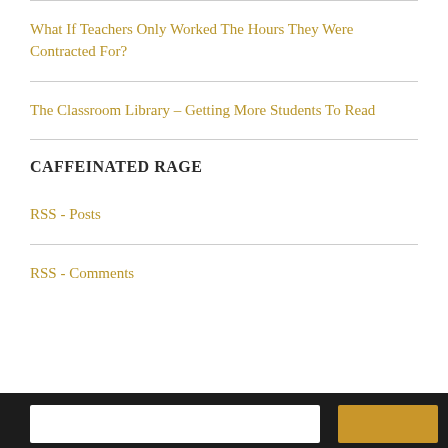What If Teachers Only Worked The Hours They Were Contracted For?
The Classroom Library – Getting More Students To Read
CAFFEINATED RAGE
RSS - Posts
RSS - Comments